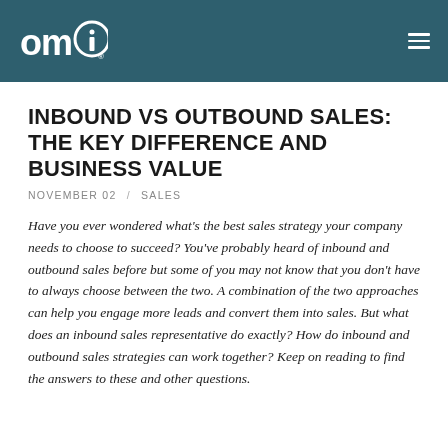omi
INBOUND VS OUTBOUND SALES: THE KEY DIFFERENCE AND BUSINESS VALUE
NOVEMBER 02  /  SALES
Have you ever wondered what's the best sales strategy your company needs to choose to succeed? You've probably heard of inbound and outbound sales before but some of you may not know that you don't have to always choose between the two. A combination of the two approaches can help you engage more leads and convert them into sales. But what does an inbound sales representative do exactly? How do inbound and outbound sales strategies can work together? Keep on reading to find the answers to these and other questions.